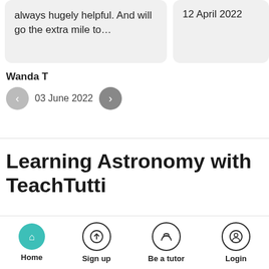always hugely helpful. And will go the extra mile to…
12 April 2022
Wanda T
03 June 2022
Learning Astronomy with TeachTutti
Finding the right Astronomy Tutor
[Figure (other): Bottom navigation bar with Home (active, teal icon), Sign up, Be a tutor, Login icons and labels]